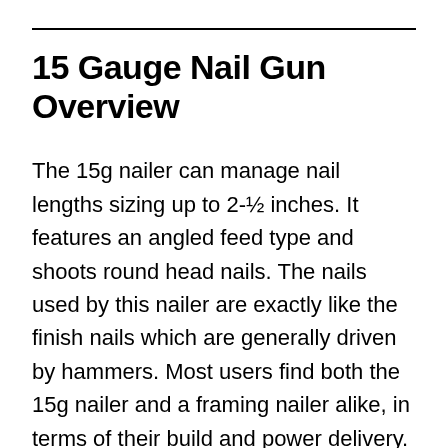15 Gauge Nail Gun Overview
The 15g nailer can manage nail lengths sizing up to 2-½ inches. It features an angled feed type and shoots round head nails. The nails used by this nailer are exactly like the finish nails which are generally driven by hammers. Most users find both the 15g nailer and a framing nailer alike, in terms of their build and power delivery. A 15g nail gun is a good fit for a number of tasks like installing stair treads, nailing door jambs, etc. These